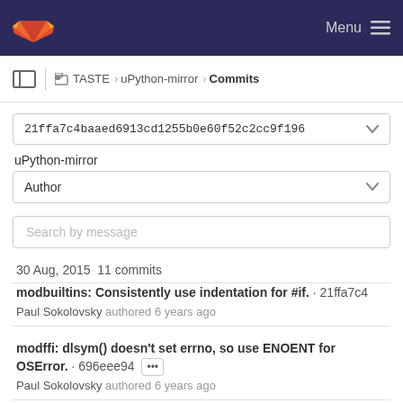Menu
TASTE > uPython-mirror > Commits
21ffa7c4baaed6913cd1255b0e60f52c2cc9f196
uPython-mirror
Author
Search by message
30 Aug, 2015 11 commits
modbuiltins: Consistently use indentation for #if. · 21ffa7c4
Paul Sokolovsky authored 6 years ago
modffi: dlsym() doesn't set errno, so use ENOENT for OSError. · 696eee94 •••
Paul Sokolovsky authored 6 years ago